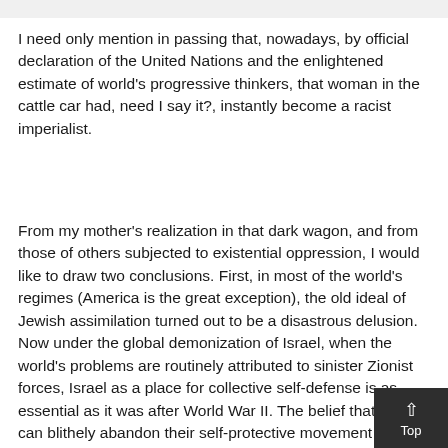I need only mention in passing that, nowadays, by official declaration of the United Nations and the enlightened estimate of world's progressive thinkers, that woman in the cattle car had, need I say it?, instantly become a racist imperialist.
From my mother's realization in that dark wagon, and from those of others subjected to existential oppression, I would like to draw two conclusions. First, in most of the world's regimes (America is the great exception), the old ideal of Jewish assimilation turned out to be a disastrous delusion. Now under the global demonization of Israel, when the world's problems are routinely attributed to sinister Zionist forces, Israel as a place for collective self-defense is as essential as it was after World War II. The belief that Israelis can blithely abandon their self-protective movement by retreating to pre-War hopes for world acceptance-that is truly an intellectually...